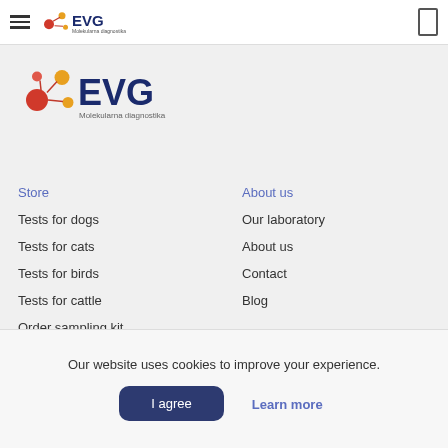[Figure (logo): EVG Molekularna diagnostika logo in navigation bar - small version with hamburger menu icon]
[Figure (logo): EVG Molekularna diagnostika logo - large version with molecule graphic in red/orange and EVG text in dark blue]
Store
Tests for dogs
Tests for cats
Tests for birds
Tests for cattle
Order sampling kit
About us
Our laboratory
About us
Contact
Blog
Our website uses cookies to improve your experience.
I agree
Learn more